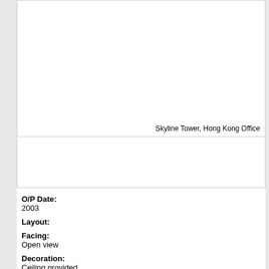[Figure (photo): Large white empty image area for Skyline Tower, Hong Kong Office]
Skyline Tower, Hong Kong Office
[Figure (photo): Smaller white empty image area below the main photo]
O/P Date:
2003
Layout:
Facing:
Open view
Decoration:
Ceiling provided
Remarks: